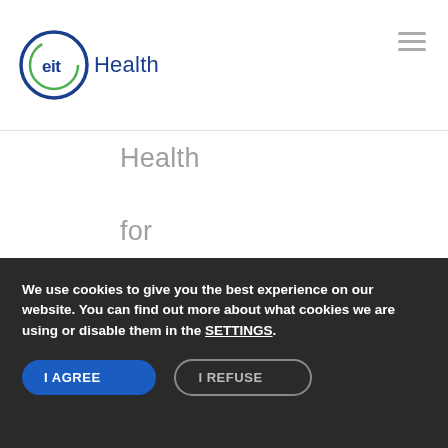eit Health
Health
for
choosing
me for
the
program
in
Munich
because
We use cookies to give you the best experience on our website. You can find out more about what cookies we are using or disable them in the SETTINGS.
I AGREE
I REFUSE